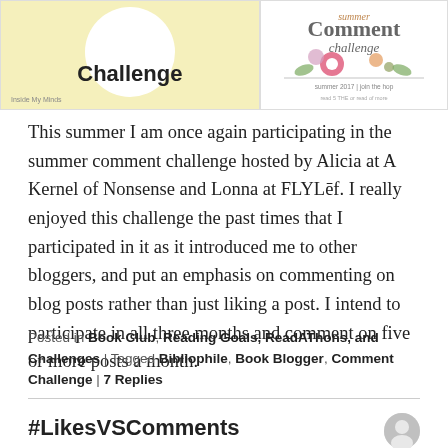[Figure (illustration): Left panel: yellow background with white circle and text 'Challenge', credited to Inside My Minds. Right panel: floral comment challenge badge with decorative flowers and script text.]
This summer I am once again participating in the summer comment challenge hosted by Alicia at A Kernel of Nonsense and Lonna at FLYLēf.  I really enjoyed this challenge the past times that I participated in it as it introduced me to other bloggers, and put an emphasis on commenting on blog posts rather than just liking a post. I intend to participate in all three months and comment on five or more posts a month.
Posted in Book Club, Reading Goals, ReadAThons, and Challenges | Tagged Bibliophile, Book Blogger, Comment Challenge | 7 Replies
#LikesVSComments